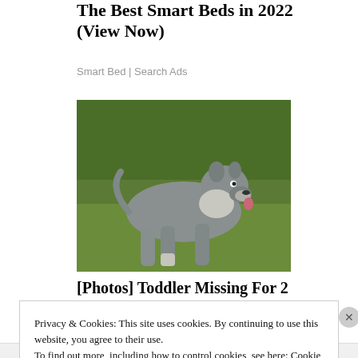The Best Smart Beds in 2022 (View Now)
Smart Bed | Search Ads
[Figure (photo): A grey and white pit bull type dog standing on grass with greenery in the background.]
[Photos] Toddler Missing For 2
Privacy & Cookies: This site uses cookies. By continuing to use this website, you agree to their use.
To find out more, including how to control cookies, see here: Cookie Policy
Close and accept